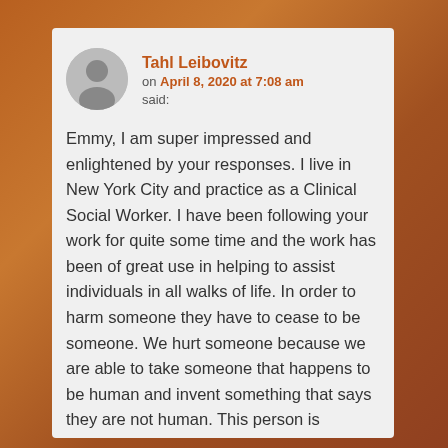Tahl Leibovitz on April 8, 2020 at 7:08 am said:
Emmy, I am super impressed and enlightened by your responses. I live in New York City and practice as a Clinical Social Worker. I have been following your work for quite some time and the work has been of great use in helping to assist individuals in all walks of life. In order to harm someone they have to cease to be someone. We hurt someone because we are able to take someone that happens to be human and invent something that says they are not human. This person is ————————. Therefore, they are not good. It is